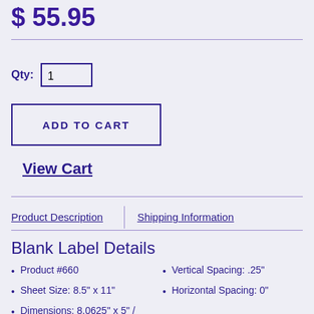$ 55.95
Qty: 1
ADD TO CART
View Cart
Product Description   Shipping Information
Blank Label Details
Product #660
Sheet Size: 8.5" x 11"
Dimensions: 8.0625" x 5" / 6.25" x 4.25"
Margins: Top: .25"
Vertical Spacing: .25"
Horizontal Spacing: 0"